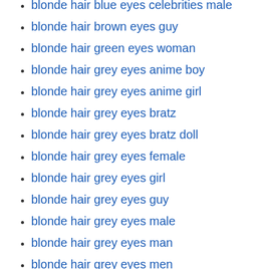blonde hair blue eyes celebrities male
blonde hair brown eyes guy
blonde hair green eyes woman
blonde hair grey eyes anime boy
blonde hair grey eyes anime girl
blonde hair grey eyes bratz
blonde hair grey eyes bratz doll
blonde hair grey eyes female
blonde hair grey eyes girl
blonde hair grey eyes guy
blonde hair grey eyes male
blonde hair grey eyes man
blonde hair grey eyes men
blonde hair with light pink tips
blonde wig costume ideas